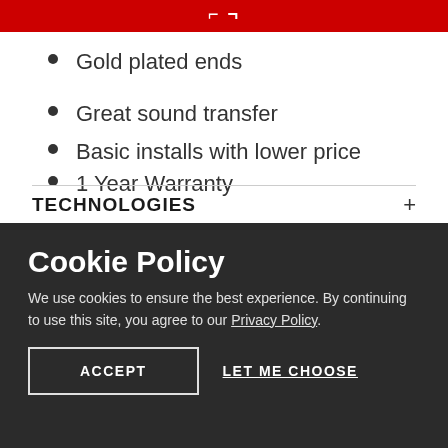[ ]
Gold plated ends
Great sound transfer
Basic installs with lower price
1 Year Warranty
TECHNOLOGIES
SPECIFICATIONS
Cookie Policy
We use cookies to ensure the best experience. By continuing to use this site, you agree to our Privacy Policy.
ACCEPT
LET ME CHOOSE